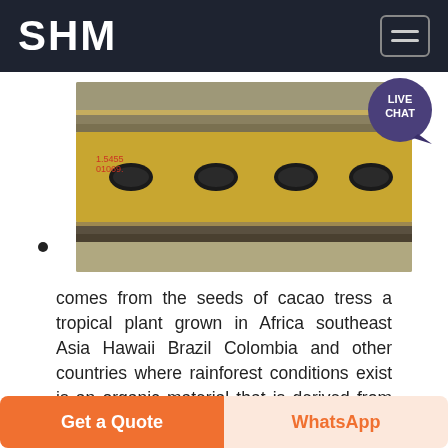SHM
[Figure (photo): Industrial metal component with oval cutouts, resembling a press or mold part, placed on a concrete surface. The part is gold/brass colored with several oval holes across its surface. Red markings visible on the left side.]
comes from the seeds of cacao tress a tropical plant grown in Africa southeast Asia Hawaii Brazil Colombia and other countries where rainforest conditions exist is an organic material that is derived from the extraction of fats or butter from cacao. Roasted cacao...